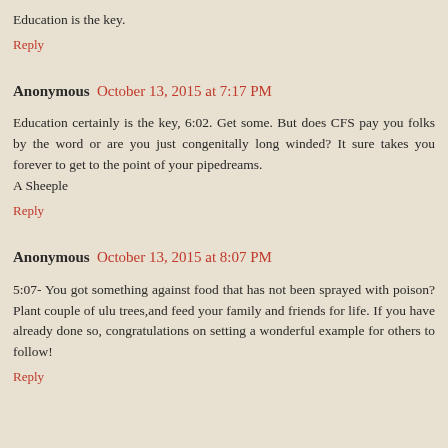Education is the key.
Reply
Anonymous October 13, 2015 at 7:17 PM
Education certainly is the key, 6:02. Get some. But does CFS pay you folks by the word or are you just congenitally long winded? It sure takes you forever to get to the point of your pipedreams.
A Sheeple
Reply
Anonymous October 13, 2015 at 8:07 PM
5:07- You got something against food that has not been sprayed with poison? Plant couple of ulu trees,and feed your family and friends for life. If you have already done so, congratulations on setting a wonderful example for others to follow!
Reply